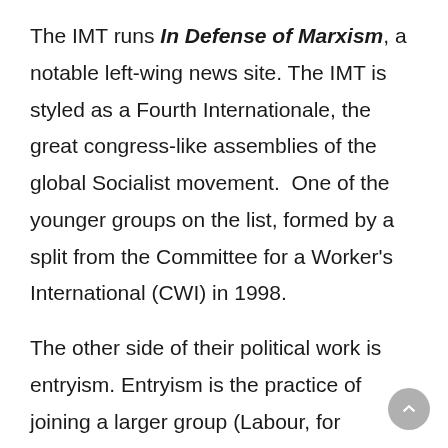The IMT runs In Defense of Marxism, a notable left-wing news site. The IMT is styled as a Fourth Internationale, the great congress-like assemblies of the global Socialist movement. One of the younger groups on the list, formed by a split from the Committee for a Worker's International (CWI) in 1998.
The other side of their political work is entryism. Entryism is the practice of joining a larger group (Labour, for example) with the specific intention of co-opting it from the inside. A controversial